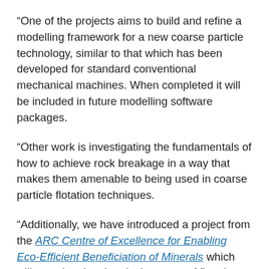“One of the projects aims to build and refine a modelling framework for a new coarse particle technology, similar to that which has been developed for standard conventional mechanical machines. When completed it will be included in future modelling software packages.
“Other work is investigating the fundamentals of how to achieve rock breakage in a way that makes them amenable to being used in coarse particle flotation techniques.
“Additionally, we have introduced a project from the ARC Centre of Excellence for Enabling Eco-Efficient Beneficiation of Minerals which will examine the chemical aspects of flotation and reagent addition methods for coarse particle technology.
“After a two-year period where it was impossible to bring in the talent needed for some of the projects, we are now running at full power and foresee significant progress in the